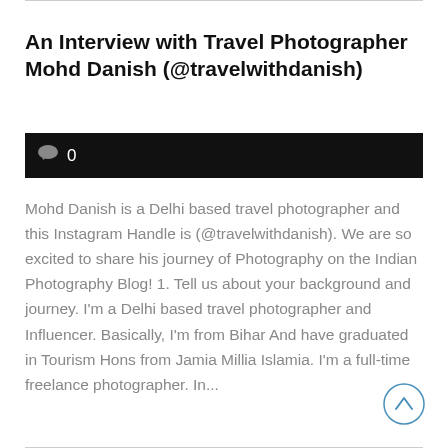An Interview with Travel Photographer Mohd Danish (@travelwithdanish)
[Figure (other): Black comment bar with chat bubble icon and the number 0]
Mohd Danish is a Delhi based travel photographer and this Instagram Handle is (@travelwithdanish). We are so excited to share his journey of Photography on the Indian Photography Blog! 1. Tell us about your background and journey. I'm a Delhi based travel photographer and Influencer. Basically, I'm from Bihar And have graduated in Tourism Hons from Jamia Millia Islamia. I'm a full-time freelance photographer. In...